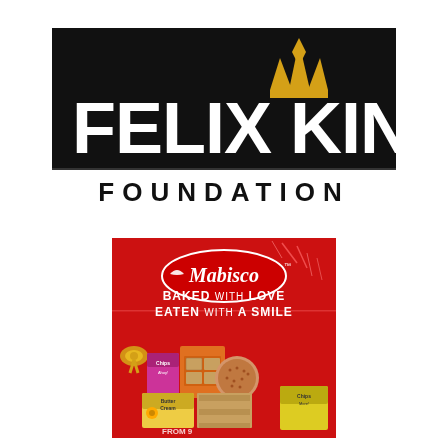[Figure (logo): Felix King Foundation logo: black rectangular background with large white bold text 'FELIX KING' and a gold crown-like emblem above the K in KING. Below, on a white strip, bold black text reads 'FOUNDATION'.]
[Figure (illustration): Mabisco brand advertisement on a red background. Top section shows the Mabisco logo (red oval with white text and a small bird/wing icon). Text reads 'BAKED WITH LOVE EATEN WITH A SMILE'. Bottom section shows various Mabisco biscuit/cracker product boxes and crackers arranged together, with a gold gift bow on the left.]